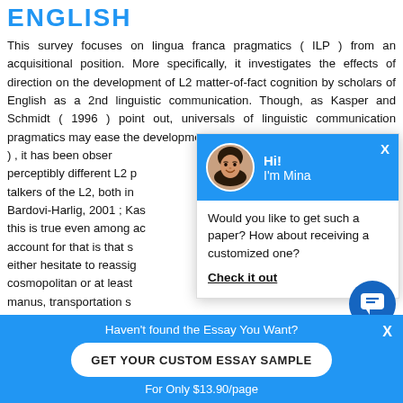ENGLISH
This survey focuses on lingua franca pragmatics ( ILP ) from an acquisitional position. More specifically, it investigates the effects of direction on the development of L2 matter-of-fact cognition by scholars of English as a 2nd linguistic communication. Though, as Kasper and Schmidt ( 1996 ) point out, universals of linguistic communication pragmatics may ease the development , it has been observed perceptibly different L2 pragmatics talkers of the L2, both in Bardovi-Harlig, 2001 ; Kasper this is true even among account for that is that either hesitate to reassign cosmopolitan or at least manus, transportation cosmopolitan, therefore movable, when really it is
[Figure (illustration): Chat popup with avatar photo of a woman named Mina, blue header saying Hi! I'm Mina, body text asking if user wants a customized paper with a Check it out link]
Would you like to get such a paper? How about receiving a customized one?
Check it out
Haven't found the Essay You Want? GET YOUR CUSTOM ESSAY SAMPLE For Only $13.90/page